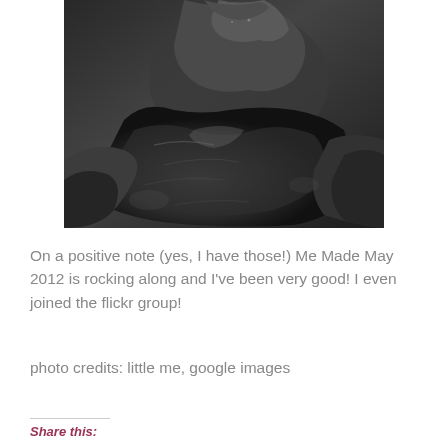[Figure (photo): Black and white vintage photograph showing a figure in a dark, draped garment or dress, photographed from below the head, showing the torso and lower body area with dramatic fabric folds]
On a positive note (yes, I have those!) Me Made May 2012 is rocking along and I've been very good! I even joined the flickr group!
photo credits: little me, google images
Share this: